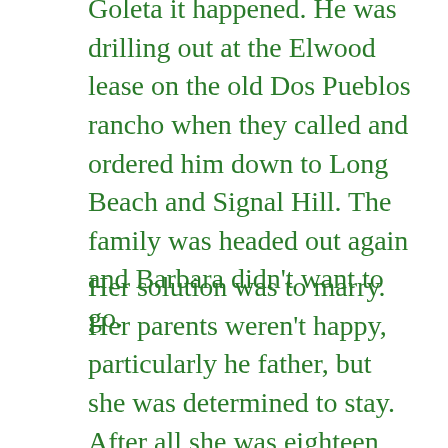Goleta it happened. He was drilling out at the Elwood lease on the old Dos Pueblos rancho when they called and ordered him down to Long Beach and Signal Hill. The family was headed out again and Barbara didn't want to go.
Her solution was to marry. Her parents weren't happy, particularly he father, but she was determined to stay. After all she was eighteen and she could do what she wanted. Her father